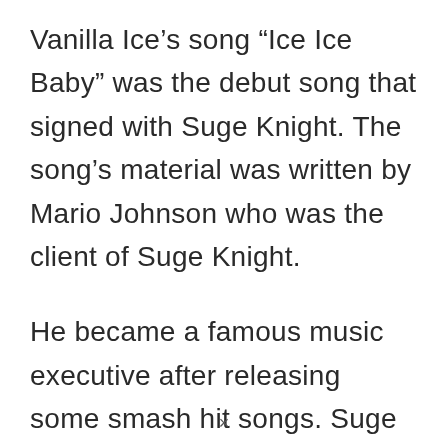Vanilla Ice's song “Ice Ice Baby” was the debut song that signed with Suge Knight. The song’s material was written by Mario Johnson who was the client of Suge Knight.
He became a famous music executive after releasing some smash hit songs. Suge Knight worked with many well-known rappers including Dr. Dre, Tracy
×